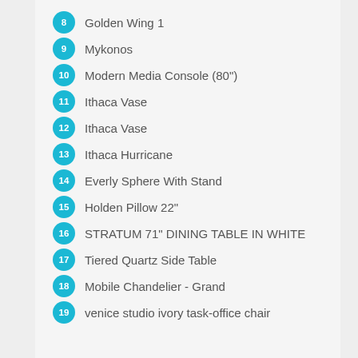8 Golden Wing 1
9 Mykonos
10 Modern Media Console (80")
11 Ithaca Vase
12 Ithaca Vase
13 Ithaca Hurricane
14 Everly Sphere With Stand
15 Holden Pillow 22"
16 STRATUM 71" DINING TABLE IN WHITE
17 Tiered Quartz Side Table
18 Mobile Chandelier - Grand
19 venice studio ivory task-office chair